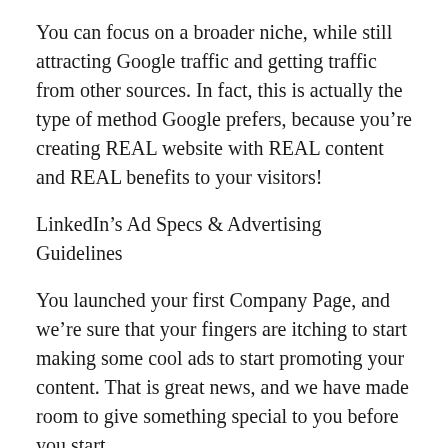You can focus on a broader niche, while still attracting Google traffic and getting traffic from other sources. In fact, this is actually the type of method Google prefers, because you're creating REAL website with REAL content and REAL benefits to your visitors!
LinkedIn's Ad Specs & Advertising Guidelines
You launched your first Company Page, and we're sure that your fingers are itching to start making some cool ads to start promoting your content. That is great news, and we have made room to give something special to you before you start.